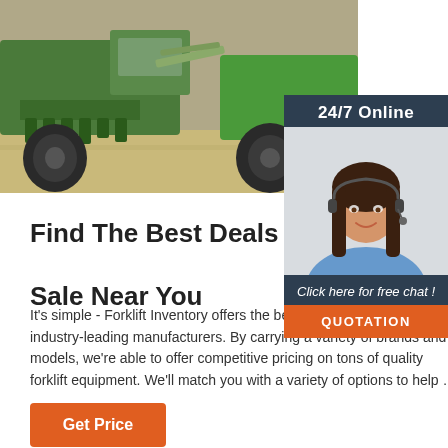[Figure (photo): Green forklift / heavy machinery parked on concrete, with large tires and attachment, photographed from ground level. An overlay shows a 24/7 online chat widget with a smiling female customer service agent wearing a headset, plus a 'QUOTATION' button.]
Find The Best Deals On Forklifts For Sale Near You
It's simple - Forklift Inventory offers the best forklifts for sale from industry-leading manufacturers. By carrying a variety of brands and models, we're able to offer competitive pricing on tons of quality forklift equipment. We'll match you with a variety of options to help …
Get Price